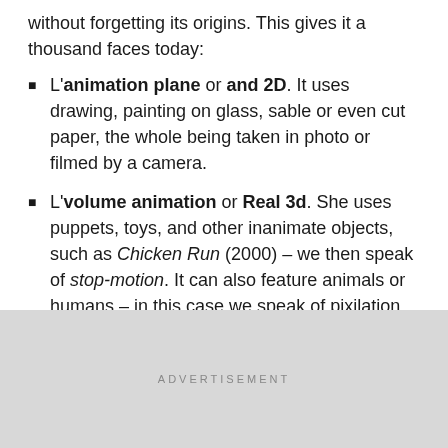without forgetting its origins. This gives it a thousand faces today:
L'animation plane or and 2D. It uses drawing, painting on glass, sable or even cut paper, the whole being taken in photo or filmed by a camera.
L'volume animation or Real 3d. She uses puppets, toys, and other inanimate objects, such as Chicken Run (2000) – we then speak of stop-motion. It can also feature animals or humans – in this case we speak of pixilation. Again, everything is recorded by a camera or a camera.
L'computer animation. It includes the 2D digital
ADVERTISEMENT